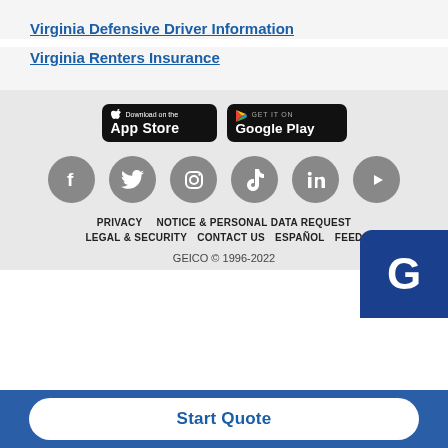Virginia Defensive Driver Information
Virginia Renters Insurance
[Figure (screenshot): App store download buttons: Download on the App Store and Get it on Google Play]
[Figure (illustration): Social media icons: Facebook, Twitter, Instagram, TikTok, LinkedIn, YouTube]
PRIVACY   NOTICE & PERSONAL DATA REQUEST   LEGAL & SECURITY   CONTACT US   ESPAÑOL   FEEDBACK
GEICO © 1996-2022
Start Quote